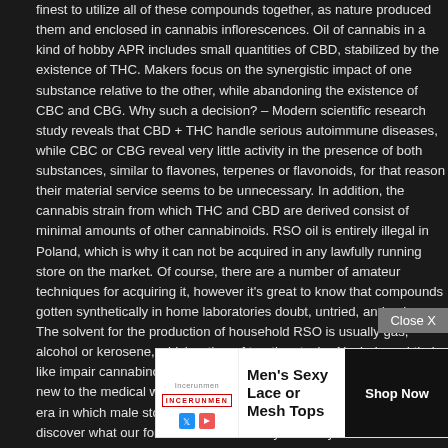finest to utilize all of these compounds together, as nature produced them and enclosed in cannabis inflorescences. Oil of cannabis in a kind of hobby APR includes small quantities of CBD, stabilized by the existence of THC. Makers focus on the synergistic impact of one substance relative to the other, while abandoning the existence of CBC and CBG. Why such a decision? – Modern scientific research study reveals that CBD + THC handle serious autoimmune diseases, while CBC or CBG reveal very little activity in the presence of both substances, similar to flavones, terpenes or flavonoids, for that reason their material service seems to be unnecessary. In addition, the cannabis strain from which THC and CBD are derived consist of minimal amounts of other cannabinoids. RSO oil is entirely illegal in Poland, which is why it can not be acquired in any lawfully running store on the market. Of course, there are a number of amateur techniques for acquiring it, however it's great to know that compounds gotten synthetically in home laboratories doubt, untried, and unknown. The solvent for the production of household RSO is usually gas, alcohol or kerosene, which rather of treating, toxin. Alcohols and their like impair cannabinoids, therefore in truth, they do not bring anything new to the medical world. Marijuana oil actually already marked a new era in which male stopped to fear what is unknown, and started to discover what our forefathers had actually currently discovered and utilized the considerable capacity, in the beginning glance, a little unusual relationships, associated generally with pathology. Medical marijuana, contrary to its name, does not suggest fermented female inflorescences and leaves containing psychoactive compounds known as so-called "Joints", however a beneficial oil without psychoactive THC. A standard individual, after taking dosages of medicinal cannabis and attaining the suitable state of cannabinoids in the blood, can enjoy increased immunity, decreased susceptibility to cancer, delayed aging and reduced threat of stroke or heart attack. CBD oil includes cannabidiol as a base ingredient and may consist of only trace quantities of tetrahydrocannabidiol (THC). RSO oil has a low CBD material, while high THC. Both marijuana oil type CBD and RSO also consist of other cannabinoids, such as cannabichromene (CBC) and cannabigerol (CBG). CBD medical marijuana oil is a rather helpful mix of cannabinoids, designed to serve and versus 21% of THC. RSO oil has a low CBD material, while high THC. Both contains little
[Figure (other): Advertisement banner overlay: 'Close X' button visible, Incerunmen Men's Sexy Lace or Mesh Tops ad with Shop Now button and brand logo]